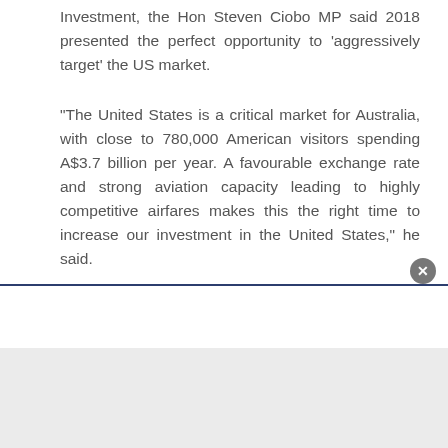Investment, the Hon Steven Ciobo MP said 2018 presented the perfect opportunity to 'aggressively target' the US market.
“The United States is a critical market for Australia, with close to 780,000 American visitors spending A$3.7 billion per year. A favourable exchange rate and strong aviation capacity leading to highly competitive airfares makes this the right time to increase our investment in the United States,” he said.
“Whilst Australia ranks highly among Americans in terms of desirability and awareness of our tourism offerings, we lag behind our competitors when it comes to actual bookings. This new campaign will